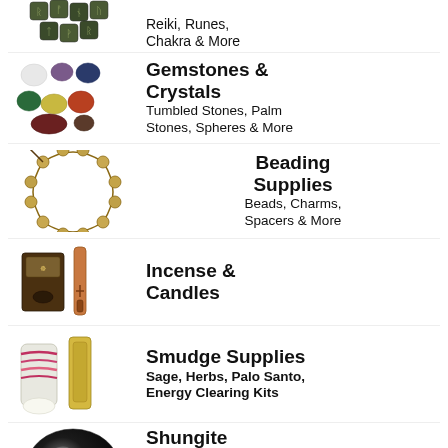[Figure (photo): Rune stones with carved symbols, dark green/black colored dice-like stones]
Reiki, Runes, Chakra & More
[Figure (photo): Tumbled gemstones and crystals in various colors: clear, purple, blue, green, yellow, red, brown, dark red]
Gemstones & Crystals
Tumbled Stones, Palm Stones, Spheres & More
[Figure (photo): Wooden bead mala/prayer beads arranged in a circle]
Beading Supplies
Beads, Charms, Spacers & More
[Figure (photo): Incense sticks and incense package, brown and dark packaging]
Incense & Candles
[Figure (photo): White sage smudge bundle with pink/red wrapping and a palo santo stick]
Smudge Supplies
Sage, Herbs, Palo Santo, Energy Clearing Kits
[Figure (photo): Shungite polished black sphere/palm stone]
Shungite
Bracelets, Beads, Rough, Cell Phone EMF Protectors & More